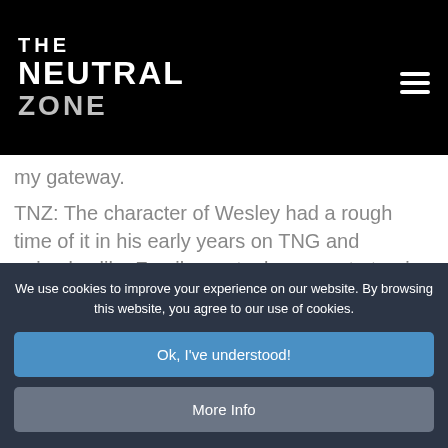The Neutral Zone
my gateway.
TNZ: The character of Wesley had a rough time of it in his early years on TNG and episodes like Family went a long way to turning that ambivalence and bitterness around by giving him such a deep and emotional family history. How much does
We use cookies to improve your experience on our website. By browsing this website, you agree to our use of cookies.
Ok, I've understood!
More Info